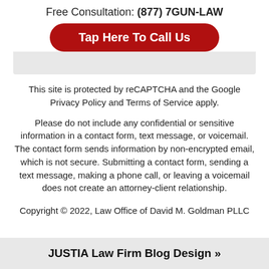Free Consultation: (877) 7GUN-LAW
Tap Here To Call Us
This site is protected by reCAPTCHA and the Google Privacy Policy and Terms of Service apply.
Please do not include any confidential or sensitive information in a contact form, text message, or voicemail. The contact form sends information by non-encrypted email, which is not secure. Submitting a contact form, sending a text message, making a phone call, or leaving a voicemail does not create an attorney-client relationship.
Copyright © 2022, Law Office of David M. Goldman PLLC
JUSTIA Law Firm Blog Design »